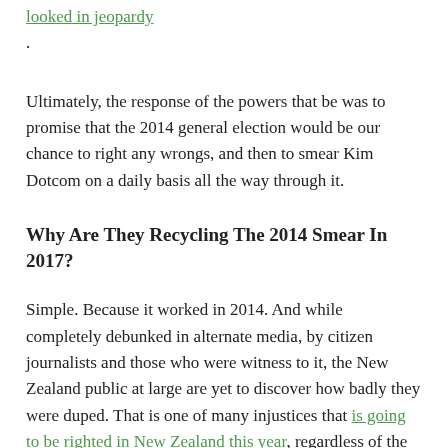looked in jeopardy.
Ultimately, the response of the powers that be was to promise that the 2014 general election would be our chance to right any wrongs, and then to smear Kim Dotcom on a daily basis all the way through it.
Why Are They Recycling The 2014 Smear In 2017?
Simple. Because it worked in 2014. And while completely debunked in alternate media, by citizen journalists and those who were witness to it, the New Zealand public at large are yet to discover how badly they were duped. That is one of many injustices that is going to be righted in New Zealand this year, regardless of the outcome of the Seth Rich case, or of what happens to me.
But Why Didn’t Kim Dotcom Answer The Rich Family Email?